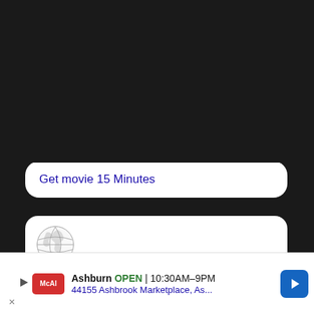Get movie 15 Minutes
[Figure (screenshot): Wikipedia logo (globe) and wordmark next to article excerpt about 15 Minutes (2001 film)]
15 Minutes is a 2001 American action-crime thriller film starring Robert De Niro and Edward Burns . Its story revolves around a homicide ... more on Wikipedia
[Figure (photo): Partial view of a movie poster or card with dark red background showing text 'THE MAN WHO HAS EVERYTHING HAS EVERYTHING TO HIDE' and a person's face]
Ashburn  OPEN | 10:30AM–9PM  44155 Ashbrook Marketplace, As...